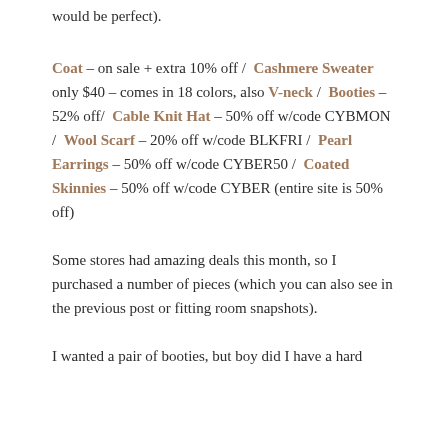would be perfect).
Coat – on sale + extra 10% off / Cashmere Sweater only $40 – comes in 18 colors, also V-neck / Booties – 52% off/ Cable Knit Hat – 50% off w/code CYBMON / Wool Scarf – 20% off w/code BLKFRI / Pearl Earrings – 50% off w/code CYBER50 / Coated Skinnies – 50% off w/code CYBER (entire site is 50% off)
Some stores had amazing deals this month, so I purchased a number of pieces (which you can also see in the previous post or fitting room snapshots).
I wanted a pair of booties, but boy did I have a hard